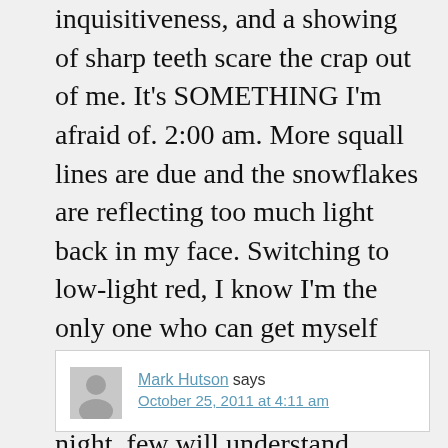inquisitiveness, and a showing of sharp teeth scare the crap out of me. It's SOMETHING I'm afraid of. 2:00 am. More squall lines are due and the snowflakes are reflecting too much light back in my face. Switching to low-light red, I know I'm the only one who can get myself back to shore safely. Alone, euphoric depths plumbed this night, few will understand...
Reply
Mark Hutson says
October 25, 2011 at 4:11 am